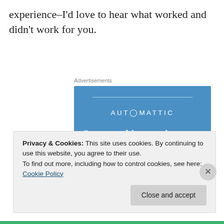experience–I'd love to hear what worked and didn't work for you.
Advertisements
[Figure (illustration): Automattic advertisement: blue background with company name 'AUTOMATTIC' at top, tagline 'Love working again.' in large white bold text, and an 'Apply' button in white.]
Privacy & Cookies: This site uses cookies. By continuing to use this website, you agree to their use.
To find out more, including how to control cookies, see here: Cookie Policy